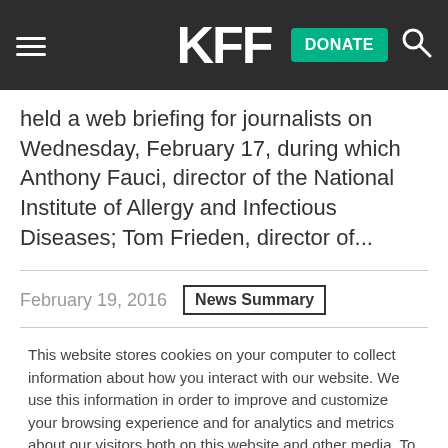KFF | DONATE
held a web briefing for journalists on Wednesday, February 17, during which Anthony Fauci, director of the National Institute of Allergy and Infectious Diseases; Tom Frieden, director of...
February 19, 2016  News Summary
This website stores cookies on your computer to collect information about how you interact with our website. We use this information in order to improve and customize your browsing experience and for analytics and metrics about our visitors both on this website and other media. To find out more about the cookies we use, see our Privacy Policy.
Accept